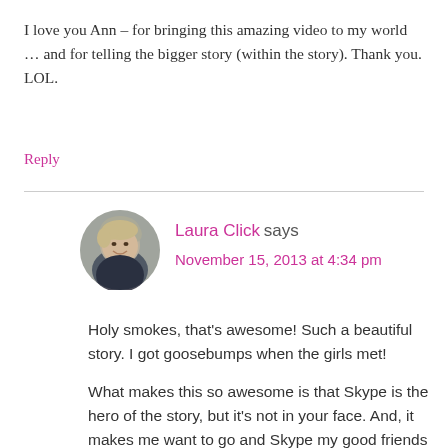I love you Ann – for bringing this amazing video to my world … and for telling the bigger story (within the story). Thank you. LOL.
Reply
Laura Click says
November 15, 2013 at 4:34 pm
Holy smokes, that's awesome! Such a beautiful story. I got goosebumps when the girls met!
What makes this so awesome is that Skype is the hero of the story, but it's not in your face. And, it makes me want to go and Skype my good friends and family I never get to see. And THAT is why it works. Thanks for sharing and thanks for DJ for sending me this way to read it!